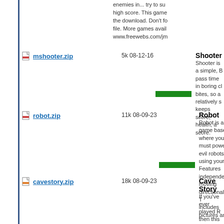enemies in... try to su high score. This game the download. Don't fo file. More games avail www.freewebs.com/jm
mshooter.zip 5k 08-12-16 Shooter - Shooter is a simple, B pass time in boring cl bites, so a relatively s keeps score, health, a score.
robot.zip 11k 08-09-23 Robot - Robot is a game base where you must powe evil robots using your Features independent moving directionality. T includes pictures and
cavestory.zip 18k 08-09-23 Cave Story - If you've ever played R then this is a must ha side scrolling shooter adventure through a la enemies. There is a p and spoilers if you hav original by Pixel! It tak pictures and documen
shootingstar.zip 6k 08-09-06 Shooting stars - This is a game where stars in the sky by pre second game in basic
zap.zip 7k 08-08-11 ZAP and ZAP2 - An wesome game crea This time, it features Z kind of boring at the b hard! Have fun playing